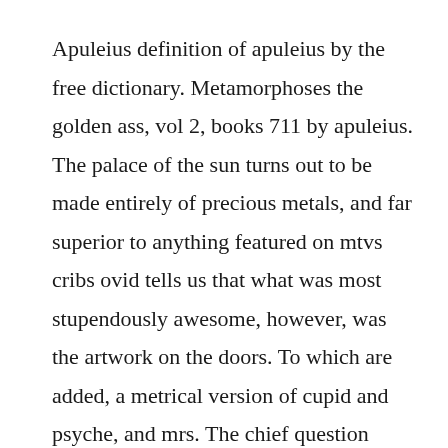Apuleius definition of apuleius by the free dictionary. Metamorphoses the golden ass, vol 2, books 711 by apuleius. The palace of the sun turns out to be made entirely of precious metals, and far superior to anything featured on mtvs cribs ovid tells us that what was most stupendously awesome, however, was the artwork on the doors. To which are added, a metrical version of cupid and psyche, and mrs. The chief question mark is that hanging over book 11 of the golden ass and. Even though it deals with suffering, the storys